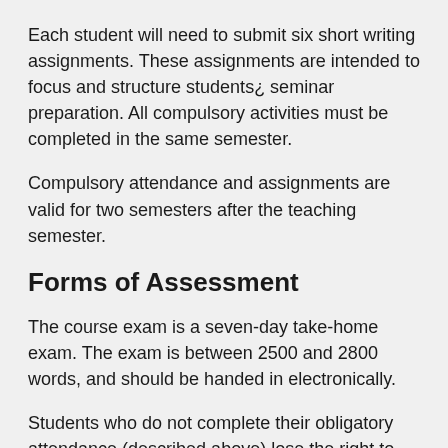Each student will need to submit six short writing assignments. These assignments are intended to focus and structure students¿ seminar preparation. All compulsory activities must be completed in the same semester.
Compulsory attendance and assignments are valid for two semesters after the teaching semester.
Forms of Assessment
The course exam is a seven-day take-home exam. The exam is between 2500 and 2800 words, and should be handed in electronically.
Students who do not complete their obligatory attendance (described above) lose the right to take the exam in the course.